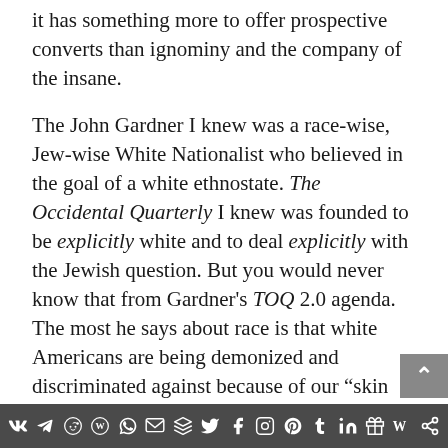it has something more to offer prospective converts than ignominy and the company of the insane.
The John Gardner I knew was a race-wise, Jew-wise White Nationalist who believed in the goal of a white ethnostate. The Occidental Quarterly I knew was founded to be explicitly white and to deal explicitly with the Jewish question. But you would never know that from Gardner's TOQ 2.0 agenda. The most he says about race is that white Americans are being demonized and discriminated against because of our “skin color.” (Which is the language of biological race deniers and minimizers.) And as for the Jewish question, all we get is this…
Social media share icons bar